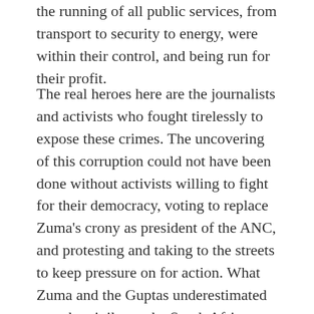the running of all public services, from transport to security to energy, were within their control, and being run for their profit.
The real heroes here are the journalists and activists who fought tirelessly to expose these crimes. The uncovering of this corruption could not have been done without activists willing to fight for their democracy, voting to replace Zuma's crony as president of the ANC, and protesting and taking to the streets to keep pressure on for action. What Zuma and the Guptas underestimated was the vigilance the South African people have over their democracy. It's creation happened within their lifetime, and many remember what it was like before its inception. There is less complacency